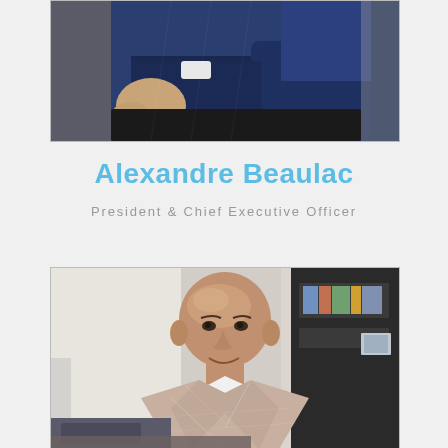[Figure (photo): Partial photo of a man in a dark navy suit seated, showing torso, hands, and lap area with a dark desk surface visible]
Alexandre Beaulac
President & Chief Executive Officer
[Figure (photo): Portrait photo of a bald man smiling, wearing a light beige/pink plaid blazer over a white shirt, seated in an office environment with dark shelving unit in the background]